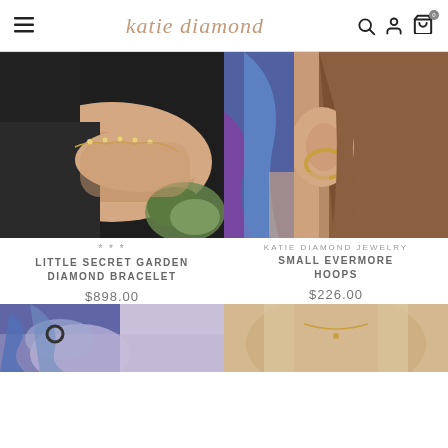katie diamond
[Figure (photo): Close-up of a wrist wearing a delicate gold diamond bracelet (Little Secret Garden Diamond Bracelet) against a dark sweater with green foliage in background]
***
LITTLE SECRET GARDEN DIAMOND BRACELET
$898.00
[Figure (photo): Close-up of a woman's ear wearing a small gold hoop earring (Small Evermore Hoops) with colorful feather-like background]
KATIE DIAMOND JEWELRY
SMALL EVERMORE HOOPS
$226.00
[Figure (photo): Close-up of a hand with a ring, blue fabric background]
[Figure (photo): Close-up of a woman's neck/chest wearing a necklace]